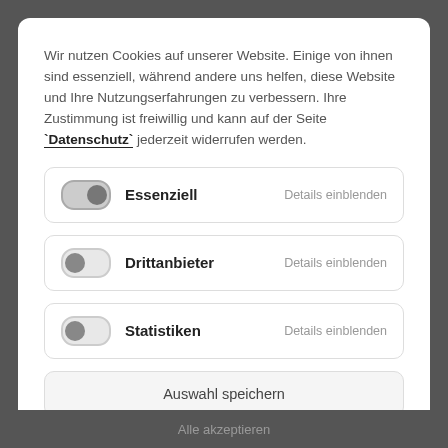Wir nutzen Cookies auf unserer Website. Einige von ihnen sind essenziell, während andere uns helfen, diese Website und Ihre Nutzungserfahrungen zu verbessern. Ihre Zustimmung ist freiwillig und kann auf der Seite "Datenschutz" jederzeit widerrufen werden.
Essenziell — Details einblenden
Drittanbieter — Details einblenden
Statistiken — Details einblenden
Auswahl speichern
Alle akzeptieren